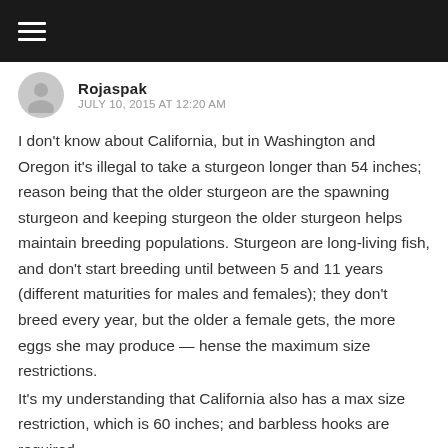☰
Rojaspak
JULY 10, 2015 AT 12:20 AM
I don't know about California, but in Washington and Oregon it's illegal to take a sturgeon longer than 54 inches; reason being that the older sturgeon are the spawning sturgeon and keeping sturgeon the older sturgeon helps maintain breeding populations. Sturgeon are long-living fish, and don't start breeding until between 5 and 11 years (different maturities for males and females); they don't breed every year, but the older a female gets, the more eggs she may produce — hense the maximum size restrictions.
It's my understanding that California also has a max size restriction, which is 60 inches; and barbless hooks are required.